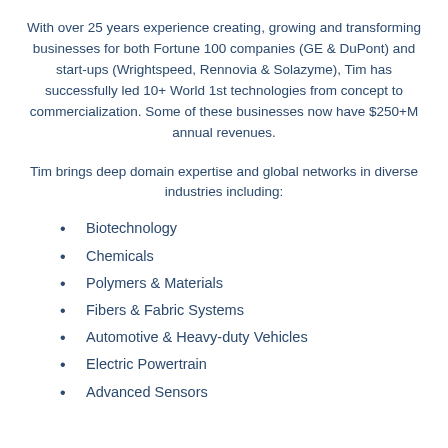With over 25 years experience creating, growing and transforming businesses for both Fortune 100 companies (GE & DuPont) and start-ups (Wrightspeed, Rennovia & Solazyme), Tim has successfully led 10+ World 1st technologies from concept to commercialization. Some of these businesses now have $250+M annual revenues.
Tim brings deep domain expertise and global networks in diverse industries including:
Biotechnology
Chemicals
Polymers & Materials
Fibers & Fabric Systems
Automotive & Heavy-duty Vehicles
Electric Powertrain
Advanced Sensors